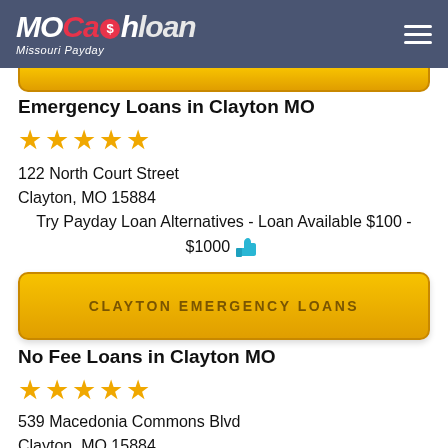[Figure (logo): MoCashLoan Missouri Payday logo with red and white text on blue-gray header background]
Emergency Loans in Clayton MO
★★★★★
122 North Court Street
Clayton, MO 15884
Try Payday Loan Alternatives - Loan Available $100 - $1000 👍
CLAYTON EMERGENCY LOANS
No Fee Loans in Clayton MO
★★★★★
539 Macedonia Commons Blvd
Clayton, MO 15884